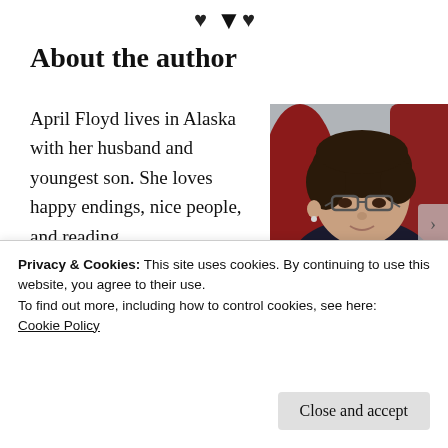[Figure (illustration): Small decorative heart/flower icons at the top of the page]
About the author
April Floyd lives in Alaska with her husband and youngest son. She loves happy endings, nice people, and reading
[Figure (photo): Portrait photo of April Floyd, a woman with short dark hair and glasses, wearing a dark top, sitting against a red background]
Privacy & Cookies: This site uses cookies. By continuing to use this website, you agree to their use.
To find out more, including how to control cookies, see here:
Cookie Policy
Close and accept